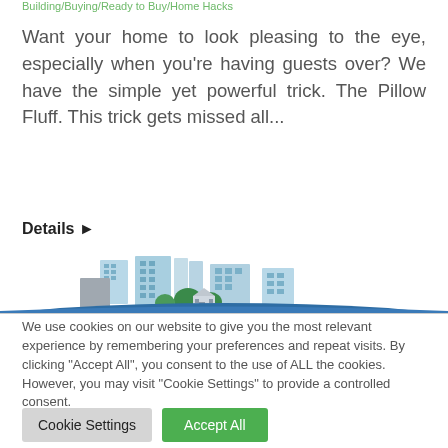Building/Buying/Ready to Buy/Home Hacks
Want your home to look pleasing to the eye, especially when you're having guests over? We have the simple yet powerful trick. The Pillow Fluff. This trick gets missed all...
Details ▶
[Figure (illustration): Illustration of a city skyline with blue and teal skyscrapers, green trees, and small houses in the foreground with a blue banner/horizon at the bottom.]
We use cookies on our website to give you the most relevant experience by remembering your preferences and repeat visits. By clicking "Accept All", you consent to the use of ALL the cookies. However, you may visit "Cookie Settings" to provide a controlled consent.